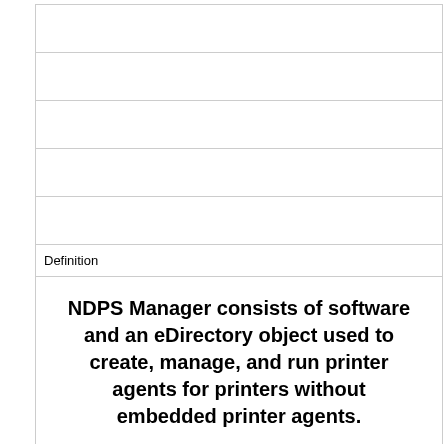Definition
NDPS Manager consists of software and an eDirectory object used to create, manage, and run printer agents for printers without embedded printer agents.
Term